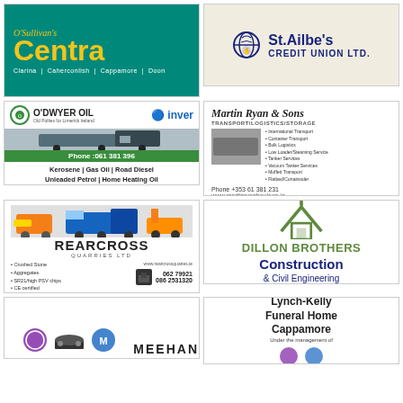[Figure (logo): O'Sullivan's Centra advertisement with teal background, yellow Centra logo, locations: Clarina, Caherconlish, Cappamore, Doon]
[Figure (logo): St. Ailbe's Credit Union Ltd. advertisement on beige background with globe/hands logo]
[Figure (logo): O'Dwyer Oil and Inver advertisement with truck image and phone 061 381 396, products: Kerosene, Gas Oil, Road Diesel, Unleaded Petrol, Home Heating Oil]
[Figure (logo): Martin Ryan & Sons Transport/Logistics/Storage ad, Phone +353 61 381 231, www.martinryanhaulage.ie]
[Figure (logo): Rearcross Quarries Ltd advertisement, www.rearcrossquaries.ie, 062 79921, 086 2531320]
[Figure (logo): Dillon Brothers Construction & Civil Engineering advertisement with house outline logo]
[Figure (logo): Meehan advertisement (partial, bottom of page)]
[Figure (logo): Lynch-Kelly Funeral Home Cappamore advertisement]